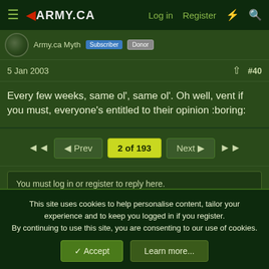Army.ca | Log in | Register
Army.ca Myth  Subscriber  Donor
5 Jan 2003  #40
Every few weeks, same ol', same ol'. Oh well, vent if you must, everyone's entitled to their opinion :boring:
◄◄  ◄ Prev  2 of 193  Next ►  ►►
You must log in or register to reply here.
Similar threads
This site uses cookies to help personalise content, tailor your experience and to keep you logged in if you register.
By continuing to use this site, you are consenting to our use of cookies.
✓ Accept  Learn more...